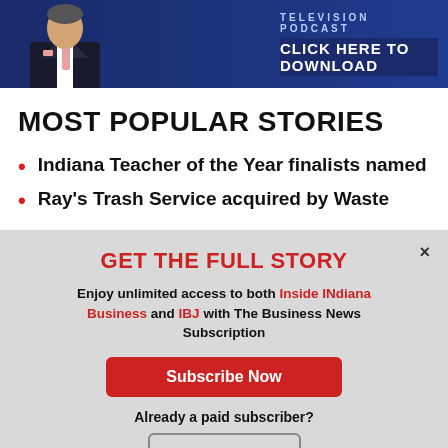[Figure (infographic): Banner advertisement for a Television Podcast — 'CLICK HERE TO DOWNLOAD' with a man in a suit on the left side, blue background.]
MOST POPULAR STORIES
Indiana Teacher of the Year finalists named
Ray's Trash Service acquired by Waste
GET THE FULL STORY
Enjoy unlimited access to both Inside INdiana Business and IBJ with The Business News Subscription
Subscribe Now
Already a paid subscriber?
Log In